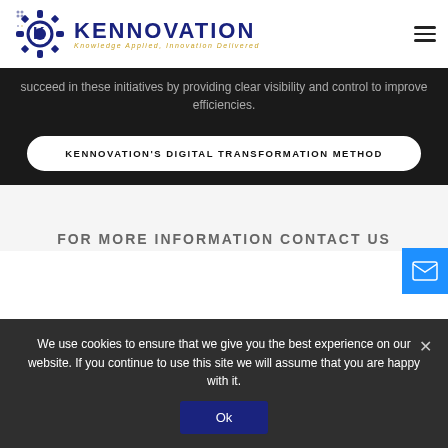[Figure (logo): Kennovation logo with gear/circuit board icon and text 'KENNOVATION Knowledge Applied, Innovation Delivered']
succeed in these initiatives by providing clear visibility and control to improve efficiencies.
KENNOVATION'S DIGITAL TRANSFORMATION METHOD
[Figure (other): Blue email envelope icon button floating on right side]
FOR MORE INFORMATION CONTACT US
We use cookies to ensure that we give you the best experience on our website. If you continue to use this site we will assume that you are happy with it.
Ok